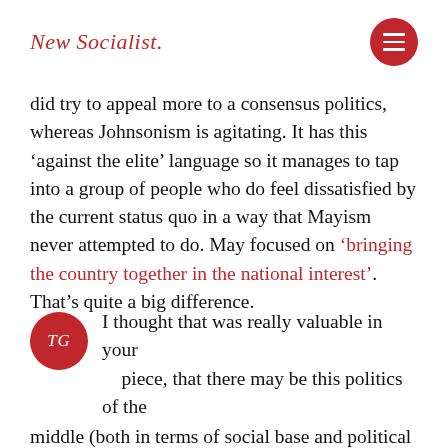New Socialist.
did try to appeal more to a consensus politics, whereas Johnsonism is agitating. It has this ‘against the elite’ language so it manages to tap into a group of people who do feel dissatisfied by the current status quo in a way that Mayism never attempted to do. May focused on ‘bringing the country together in the national interest’. That’s quite a big difference.
TG — I thought that was really valuable in your piece, that there may be this politics of the middle (both in terms of social base and political orientation) that doesn’t have a sufficient socal base to be electorally decisive in a referendum or election, which the...